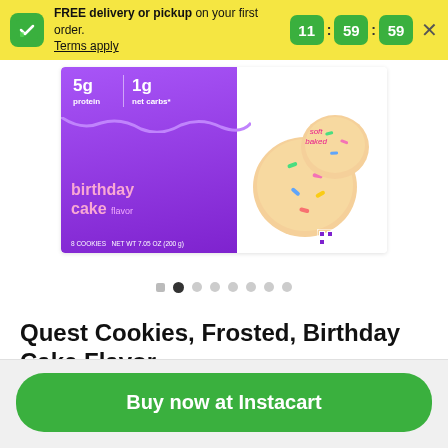FREE delivery or pickup on your first order. Terms apply. 11:59:59
[Figure (photo): Quest Cookies Frosted Birthday Cake Flavor product package showing purple box with nutrition info (5g protein, 1g net carbs) and cookies with sprinkles on white background, soft baked label]
Quest Cookies, Frosted, Birthday Cake Flavor
8 each
Buy now at Instacart